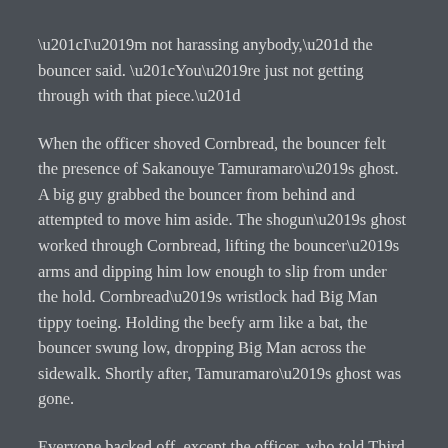“I’m not harassing anybody,” the bouncer said. “You’re just not getting through with that piece.”
When the officer shoved Cornbread, the bouncer felt the presence of Sakanouye Tamuramaro’s ghost. A big guy grabbed the bouncer from behind and attempted to move him aside. The shogun’s ghost worked through Cornbread, lifting the bouncer’s arms and dipping him low enough to slip from under the hold. Cornbread’s wristlock had Big Man tippy toeing. Holding the beefy arm like a bat, the bouncer swung low, dropping Big Man across the sidewalk. Shortly after, Tamuramaro’s ghost was gone.
Everyone backed off, except the officer, who told Third District Police that Cornbread threatened him, which was discredited by the people waiting outside and the heavy smell of alcohol on the cop. At the request of a Third District sergeant, the officer left the club.